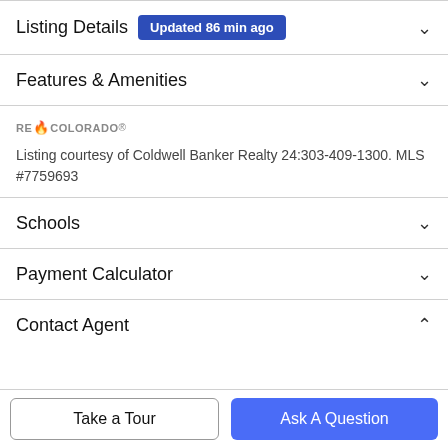Listing Details Updated 86 min ago
Features & Amenities
[Figure (logo): RE/Colorado logo]
Listing courtesy of Coldwell Banker Realty 24:303-409-1300. MLS #7759693
Schools
Payment Calculator
Contact Agent